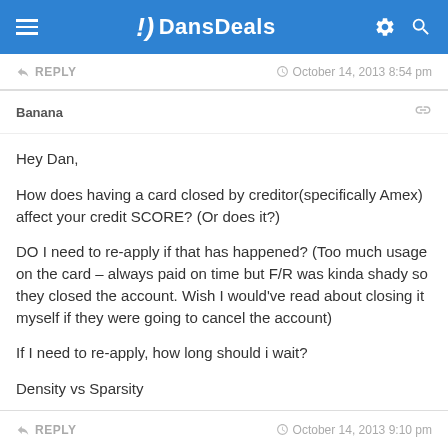DansDeals
REPLY  © October 14, 2013 8:54 pm
Banana
Hey Dan,

How does having a card closed by creditor(specifically Amex) affect your credit SCORE? (Or does it?)

DO I need to re-apply if that has happened? (Too much usage on the card – always paid on time but F/R was kinda shady so they closed the account. Wish I would've read about closing it myself if they were going to cancel the account)

If I need to re-apply, how long should i wait?

Density vs Sparsity
REPLY  © October 14, 2013 9:10 pm